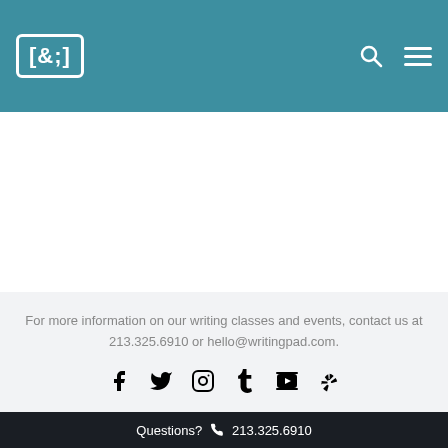[&;] logo with search and menu icons
For more information on our writing classes and events, contact us at 213.325.6910 or hello@writingpad.com.
[Figure (infographic): Social media icons row: Facebook, Twitter, Instagram, Tumblr, YouTube, Yelp]
Questions? 213.325.6910